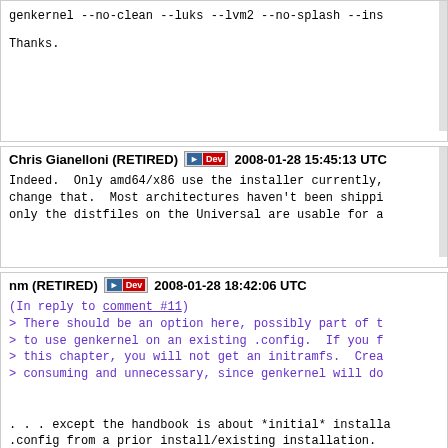genkernel --no-clean --luks --lvm2 --no-splash --ins
Thanks.
Chris Gianelloni (RETIRED) [Dev] 2008-01-28 15:45:13 UTC
Indeed.  Only amd64/x86 use the installer currently, change that.  Most architectures haven't been shippi only the distfiles on the Universal are usable for a
nm (RETIRED) [Dev] 2008-01-28 18:42:06 UTC
(In reply to comment #11)
> There should be an option here, possibly part of t
> to use genkernel on an existing .config.  If you f
> this chapter, you will not get an initramfs.  Crea
> consuming and unnecessary, since genkernel will do
. . . except the handbook is about *initial* installa .config from a prior install/existing installation. genkernel for these corner cases.
A better place for such information would be the gen http://www.gentoo.org/doc/en/genkernel.xml. Most of already present in that guide. However, since we have for the guide in a few years, we had to mark it "obs